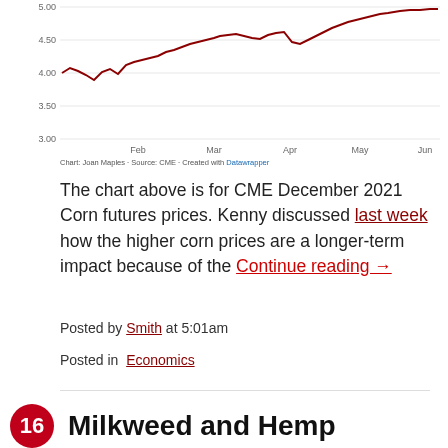[Figure (continuous-plot): Line chart showing CME December 2021 corn futures prices from approximately January to June, ranging from about 4.00 to 5.00. The line is dark red and trends upward from around 4.40 in January to nearly 5.00 by June.]
Chart: Joan Maples · Source: CME · Created with Datawrapper
The chart above is for CME December 2021 Corn futures prices. Kenny discussed last week how the higher corn prices are a longer-term impact because of the Continue reading →
Posted by Smith at 5:01am
Posted in  Economics
Milkweed and Hemp